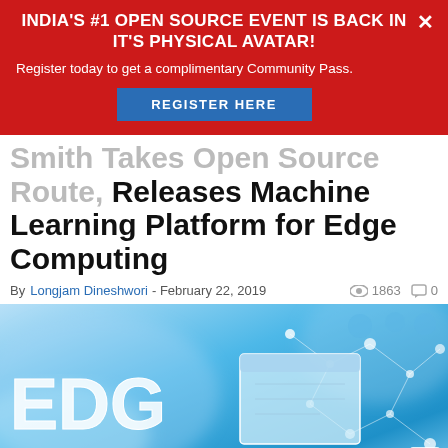INDIA'S #1 OPEN SOURCE EVENT IS BACK IN IT'S PHYSICAL AVATAR! Register today to get a complimentary Community Pass. REGISTER HERE
Releases Machine Learning Platform for Edge Computing
By Longjam Dineshwori - February 22, 2019   1863   0
[Figure (photo): Edge Computing concept image with glowing 'EDGE COMPUTING' text on a blue digital network background with connected nodes and cloud icons]